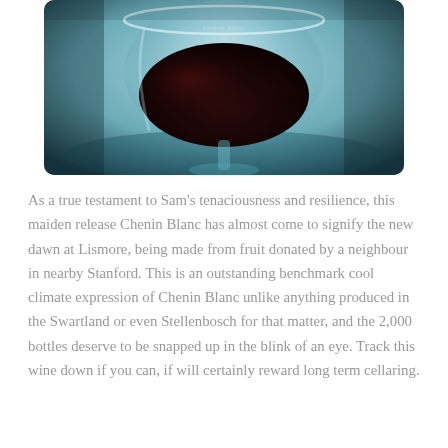[Figure (photo): Close-up photograph of a wine glass with dark red wine, viewed from above at an angle, with a cool blue-teal background and soft lighting. A wine label is partially visible at the top.]
As a true testament to Sam's tenaciousness and resilience, this maiden release Chenin Blanc has almost come to signify the new dawn at Lismore, being made from fruit donated by a neighbour in nearby Stanford. This is an outstanding benchmark cool climate expression of Chenin Blanc unlike anything produced in the Swartland or even Stellenbosch for that matter, and the 2,000 bottles deserve to be snapped up in the blink of an eye. Track this wine down if you can, if will certainly reward long term cellaring.